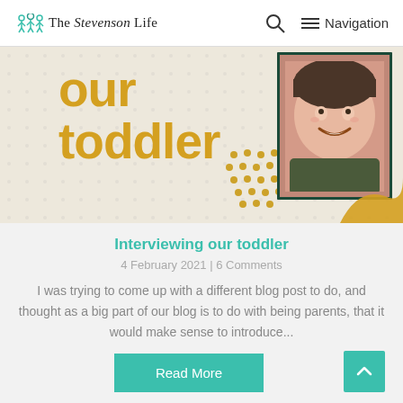The Stevenson Life | Search | Navigation
[Figure (photo): Blog post banner image showing text 'our toddler' in golden/orange bold lettering on a light beige background, with decorative dots and a photo of a smiling child in a dark jacket on the right side]
Interviewing our toddler
4 February 2021 | 6 Comments
I was trying to come up with a different blog post to do, and thought as a big part of our blog is to do with being parents, that it would make sense to introduce...
Read More